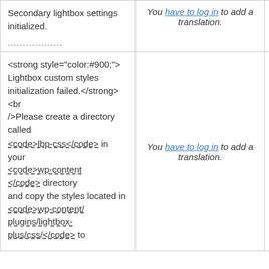| Secondary lightbox settings initialized. | You have to log in to add a translation. | Details |
| <strong style="color:#900;">Lightbox custom styles initialization failed.</strong><br />Please create a directory called <code>lbp-css</code> in your <code>wp-content</code> directory and copy the styles located in <code>wp-content/plugins/lightbox-plus/css/</code> to | You have to log in to add a translation. | Details |